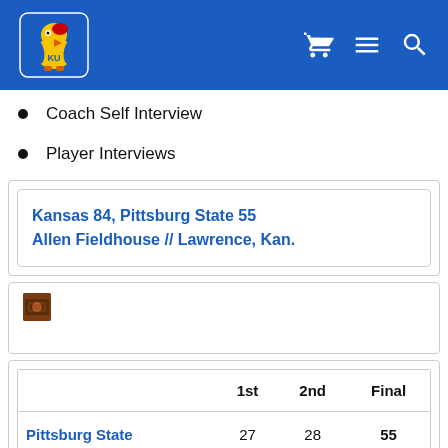[Figure (logo): Kansas Jayhawks KU logo on blue header with cart, menu, and search icons]
Coach Self Interview
Player Interviews
Kansas 84, Pittsburg State 55
Allen Fieldhouse // Lawrence, Kan.
[Figure (photo): Small basketball game thumbnail photo]
|  | 1st | 2nd | Final |
| --- | --- | --- | --- |
| Pittsburg State | 27 | 28 | 55 |